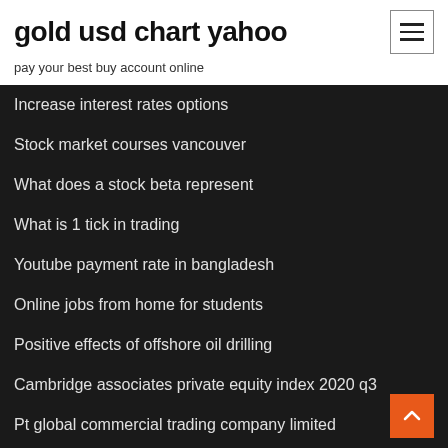gold usd chart yahoo
pay your best buy account online
Increase interest rates options
Stock market courses vancouver
What does a stock beta represent
What is 1 tick in trading
Youtube payment rate in bangladesh
Online jobs from home for students
Positive effects of offshore oil drilling
Cambridge associates private equity index 2020 q3
Pt global commercial trading company limited
Tax rate for investment property income